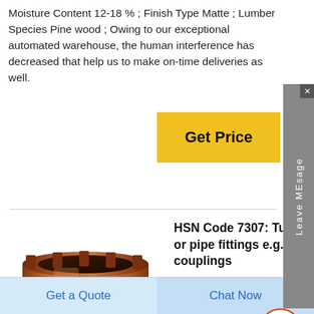Moisture Content 12-18 % ; Finish Type Matte ; Lumber Species Pine wood ; Owing to our exceptional automated warehouse, the human interference has decreased that help us to make on-time deliveries as well.
[Figure (photo): Copper cylindrical tube or pipe fitting bushing, metallic bronze/copper color, viewed from slightly above at an angle]
HSN Code 7307: Tube or pipe fittings e.g. couplings
Threaded elbows, bends and sleeves of stainless steel (excluding cast products) 18%; 730733; India, Drip Capital
Get a Quote
Chat Now